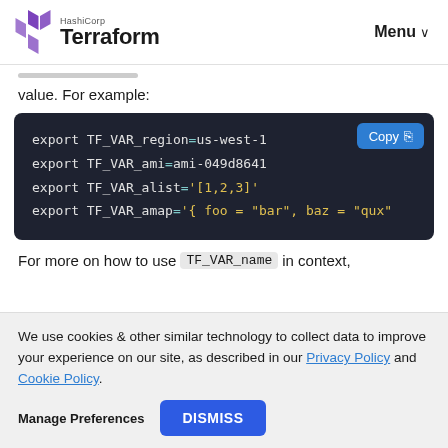HashiCorp Terraform — Menu
value. For example:
[Figure (screenshot): Dark code block showing shell export commands for Terraform environment variables: export TF_VAR_region=us-west-1, export TF_VAR_ami=ami-049d8641, export TF_VAR_alist='[1,2,3]', export TF_VAR_amap='{ foo = "bar", baz = "qux"]
For more on how to use TF_VAR_name in context,
We use cookies & other similar technology to collect data to improve your experience on our site, as described in our Privacy Policy and Cookie Policy.
Manage Preferences   DISMISS